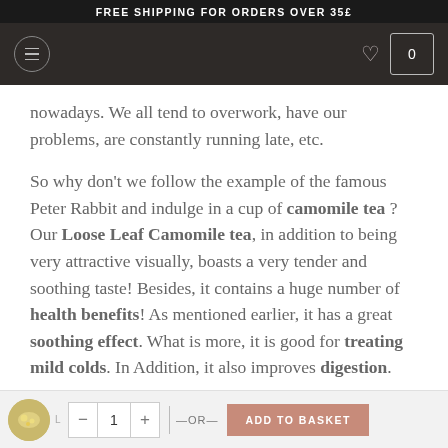FREE SHIPPING FOR ORDERS OVER 35£
nowadays. We all tend to overwork, have our problems, are constantly running late, etc.
So why don't we follow the example of the famous Peter Rabbit and indulge in a cup of camomile tea ? Our Loose Leaf Camomile tea, in addition to being very attractive visually, boasts a very tender and soothing taste! Besides, it contains a huge number of health benefits! As mentioned earlier, it has a great soothing effect. What is more, it is good for treating mild colds. In Addition, it also improves digestion.